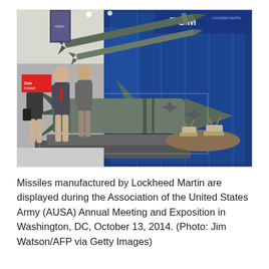[Figure (photo): Missiles manufactured by Lockheed Martin on display at the AUSA Annual Meeting and Exposition. A large gray missile model is in the foreground on a stand, with two sleeker missiles mounted diagonally in the background against a glowing blue display wall. Small military vehicle models are visible on the right side. Several attendees walk in the background on the left.]
Missiles manufactured by Lockheed Martin are displayed during the Association of the United States Army (AUSA) Annual Meeting and Exposition in Washington, DC, October 13, 2014. (Photo: Jim Watson/AFP via Getty Images)